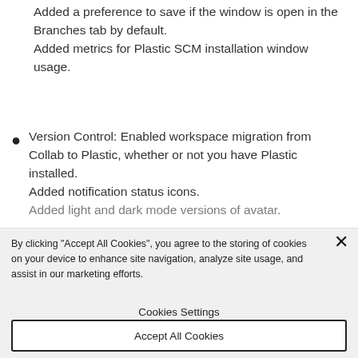Added a preference to save if the window is open in the Branches tab by default. Added metrics for Plastic SCM installation window usage.
Version Control: Enabled workspace migration from Collab to Plastic, whether or not you have Plastic installed. Added notification status icons. Added light and dark mode versions of avatar.
By clicking "Accept All Cookies", you agree to the storing of cookies on your device to enhance site navigation, analyze site usage, and assist in our marketing efforts.
Cookies Settings
Accept All Cookies